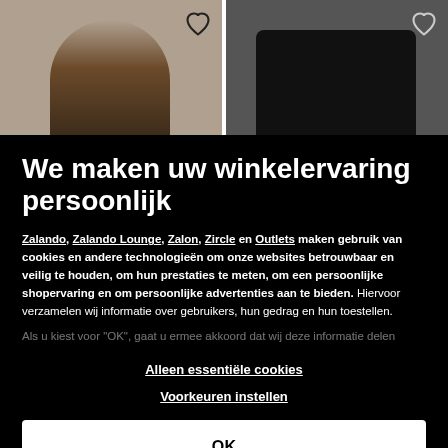[Figure (screenshot): Two product images side by side showing clothing items, each with a heart/wishlist icon in the top-right corner. Left image shows a person wearing dark clothing, right image shows a black long-sleeve top.]
We maken uw winkelervaring persoonlijk
Zalando, Zalando Lounge, Zalon, Zircle en Outlets maken gebruik van cookies en andere technologieën om onze websites betrouwbaar en veilig te houden, om hun prestaties te meten, om een persoonlijke shopervaring en om persoonlijke advertenties aan te bieden. Hiervoor verzamelen wij informatie over gebruikers, hun gedrag en hun toestellen.
Als u kiest voor "OK", gaat u ermee akkoord dat wij deze informatie delen
Alleen essentiële cookies
Voorkeuren instellen
OK